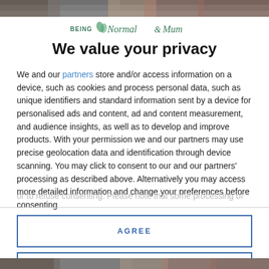[Figure (screenshot): Top image strip showing a blurred photo background]
[Figure (logo): Being Normal & Mum blog logo with decorative text]
We value your privacy
We and our partners store and/or access information on a device, such as cookies and process personal data, such as unique identifiers and standard information sent by a device for personalised ads and content, ad and content measurement, and audience insights, as well as to develop and improve products. With your permission we and our partners may use precise geolocation data and identification through device scanning. You may click to consent to our and our partners' processing as described above. Alternatively you may access more detailed information and change your preferences before consenting or to refuse consenting. Please note that some processing of your...
AGREE
MORE OPTIONS
[Figure (screenshot): Bottom image strip showing a blurred photo background]